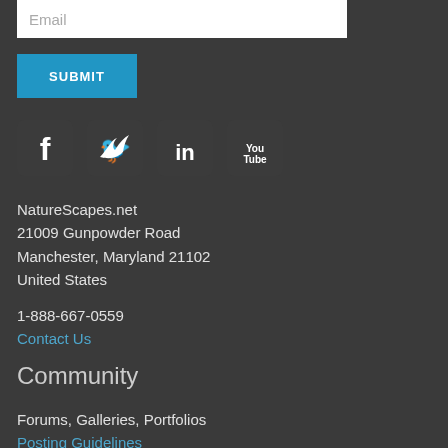Email
SUBMIT
[Figure (illustration): Social media icons: Facebook, Twitter, LinkedIn, YouTube]
NatureScapes.net
21009 Gunpowder Road
Manchester, Maryland 21102
United States
1-888-667-0559
Contact Us
Community
Forums, Galleries, Portfolios
Posting Guidelines